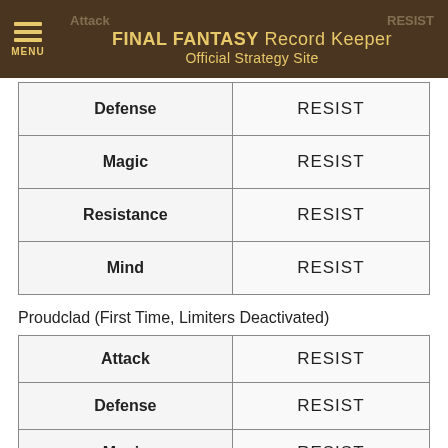FINAL FANTASY Record Keeper Official Strategy Site
| Stat | Value |
| --- | --- |
| Defense | RESIST |
| Magic | RESIST |
| Resistance | RESIST |
| Mind | RESIST |
Proudclad (First Time, Limiters Deactivated)
| Stat | Value |
| --- | --- |
| Attack | RESIST |
| Defense | RESIST |
| Magic | RESIST |
| Resistance | RESIST |
| Mind | RESIST |